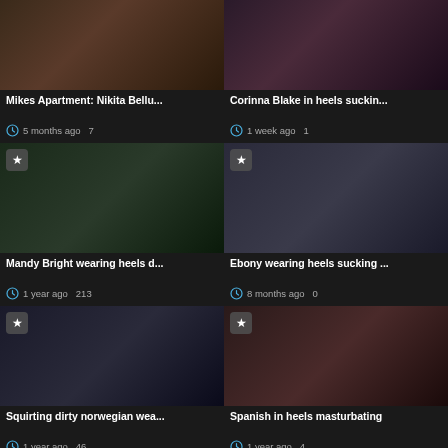[Figure (photo): Thumbnail for Mikes Apartment: Nikita Bellu...]
Mikes Apartment: Nikita Bellu...
5 months ago  7
[Figure (photo): Thumbnail for Corinna Blake in heels suckin...]
Corinna Blake in heels suckin...
1 week ago  1
[Figure (photo): Thumbnail for Mandy Bright wearing heels d...]
Mandy Bright wearing heels d...
1 year ago  213
[Figure (photo): Thumbnail for Ebony wearing heels sucking ...]
Ebony wearing heels sucking ...
8 months ago  0
[Figure (photo): Thumbnail for Squirting dirty norwegian wea...]
Squirting dirty norwegian wea...
1 year ago  46
[Figure (photo): Thumbnail for Spanish in heels masturbating]
Spanish in heels masturbating
1 year ago  4